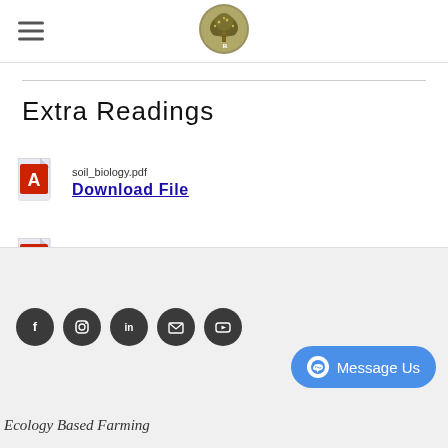[Figure (logo): Circular logo with tree/plant design in gold/olive tones, centered in header nav bar]
Extra Readings
soil_biology.pdf Download File
soil_food_web.pdf Download File
[Figure (infographic): Row of five dark circular social media icons: Facebook, Instagram, LinkedIn, Email, YouTube]
[Figure (screenshot): Blue rounded button with Messenger icon and text 'Message Us']
Ecology Based Farming